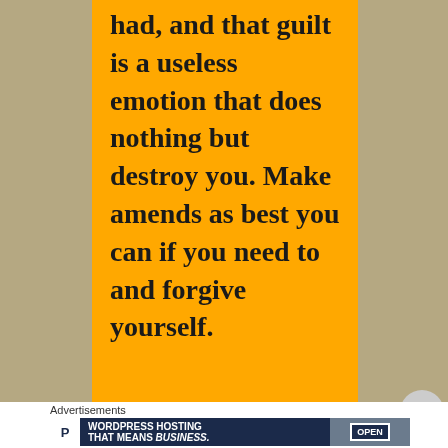had, and that guilt is a useless emotion that does nothing but destroy you. Make amends as best you can if you need to and forgive yourself.
Advertisements
[Figure (infographic): Advertisement banner for WordPress Hosting with text 'WORDPRESS HOSTING THAT MEANS BUSINESS.' and an image of an OPEN sign]